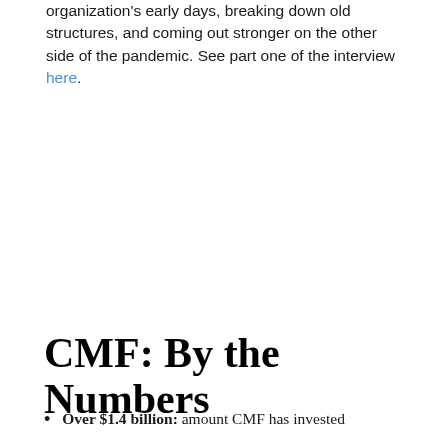organization's early days, breaking down old structures, and coming out stronger on the other side of the pandemic. See part one of the interview here.
CMF: By the Numbers
Over $1.4 billion: amount CMF has invested